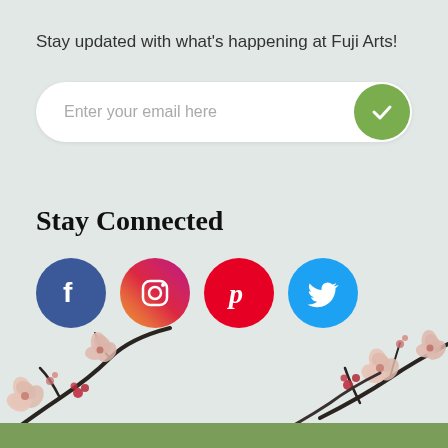Stay updated with what's happening at Fuji Arts!
[Figure (infographic): Email subscription input bar with placeholder text 'Enter your email here' and a green circular submit button with a checkmark]
Stay Connected
[Figure (infographic): Four social media icons in circles: Facebook (blue), Instagram (gradient), Pinterest (red), Twitter (light blue)]
[Figure (illustration): Decorative cherry blossom branches with pink flowers along the bottom of the page, with a green grass strip at the very bottom]